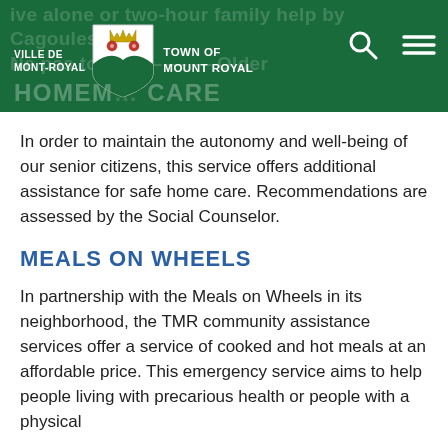VILLE DE MONT-ROYAL / TOWN OF MOUNT ROYAL
In order to maintain the autonomy and well-being of our senior citizens, this service offers additional assistance for safe home care. Recommendations are assessed by the Social Counselor.
MEALS ON WHEELS
In partnership with the Meals on Wheels in its neighborhood, the TMR community assistance services offer a service of cooked and hot meals at an affordable price. This emergency service aims to help people living with precarious health or people with a physical